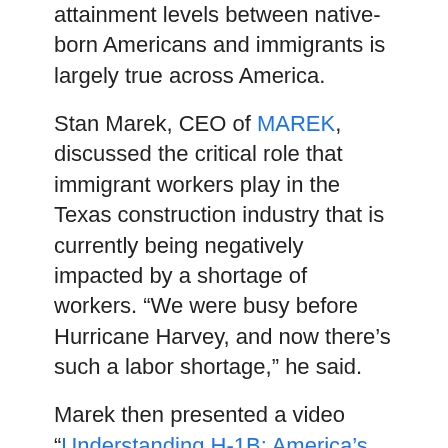attainment levels between native-born Americans and immigrants is largely true across America.
Stan Marek, CEO of MAREK, discussed the critical role that immigrant workers play in the Texas construction industry that is currently being negatively impacted by a shortage of workers. “We were busy before Hurricane Harvey, and now there’s such a labor shortage,” he said.
Marek then presented a video “Understanding H-1B: America’s Skilled Worker Visa,” which is part of the Rational Middle:Immigration documentary video series that he has helped produce.
The video explored the history of the high skill visa and the challenges it faces going forward.
In the video, President Trump calls for more high-skilled visas and allowing more high-skilled immigrants to come to America and stay. “We need highly skilled